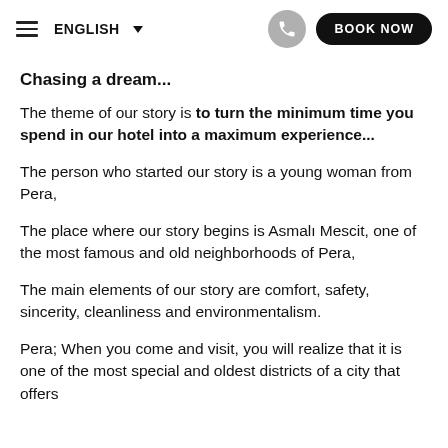≡ ENGLISH ▾  [phone button]  BOOK NOW
Chasing a dream...
The theme of our story is to turn the minimum time you spend in our hotel into a maximum experience...
The person who started our story is a young woman from Pera,
The place where our story begins is Asmalı Mescit, one of the most famous and old neighborhoods of Pera,
The main elements of our story are comfort, safety, sincerity, cleanliness and environmentalism.
Pera; When you come and visit, you will realize that it is one of the most special and oldest districts of a city that offers